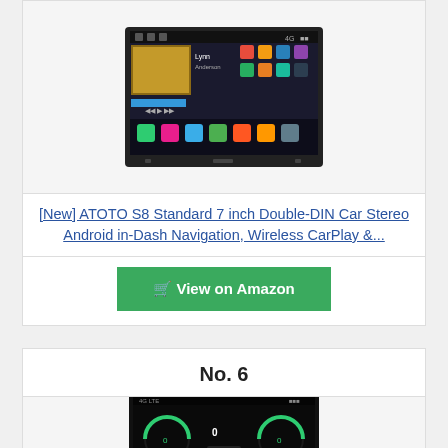[Figure (photo): Car stereo Android touchscreen unit showing home screen with apps and CarPlay interface]
[New] ATOTO S8 Standard 7 inch Double-DIN Car Stereo Android in-Dash Navigation, Wireless CarPlay &...
View on Amazon
No. 6
[Figure (photo): Car stereo double DIN head unit showing gauges and media interface]